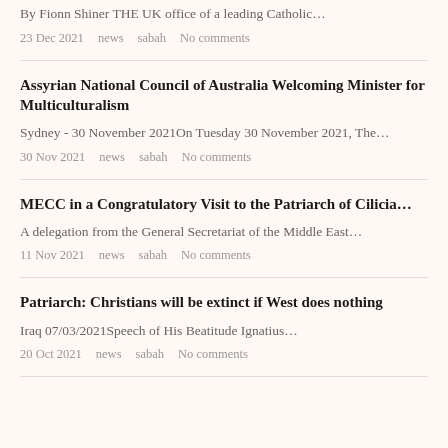By Fionn Shiner THE UK office of a leading Catholic…
23 Dec 2021   news   sabah   No comments
Assyrian National Council of Australia Welcoming Minister for Multiculturalism
Sydney - 30 November 2021On Tuesday 30 November 2021, The…
30 Nov 2021   news   sabah   No comments
MECC in a Congratulatory Visit to the Patriarch of Cilicia…
A delegation from the General Secretariat of the Middle East…
11 Nov 2021   news   sabah   No comments
Patriarch: Christians will be extinct if West does nothing
Iraq 07/03/2021Speech of His Beatitude Ignatius…
20 Oct 2021   news   sabah   No comments